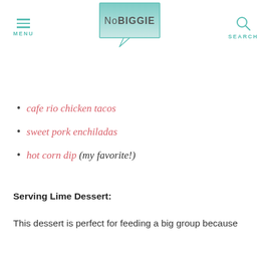[Figure (logo): NoBIGGIE logo - speech bubble with teal gradient containing text NoBIGGIE]
MENU | NoBIGGIE | SEARCH
cafe rio chicken tacos
sweet pork enchiladas
hot corn dip (my favorite!)
Serving Lime Dessert:
This dessert is perfect for feeding a big group because